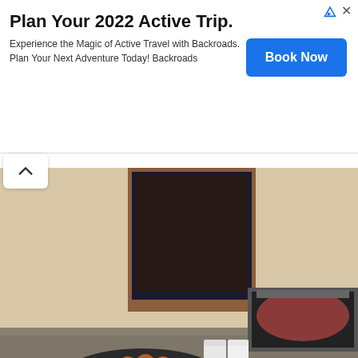[Figure (other): Advertisement banner: Plan Your 2022 Active Trip. Experience the Magic of Active Travel with Backroads. Plan Your Next Adventure Today! Backroads. Book Now button.]
[Figure (photo): Hotel buffet table with a large round hot dog roller/warmer filled with sausages, rolls/buns on a silver plate, condiment bottles, stacked plates, and a small tray of individually wrapped items on a granite countertop.]
[Figure (photo): Partial view of a second buffet or breakfast area photo, partially visible at the bottom of the page.]